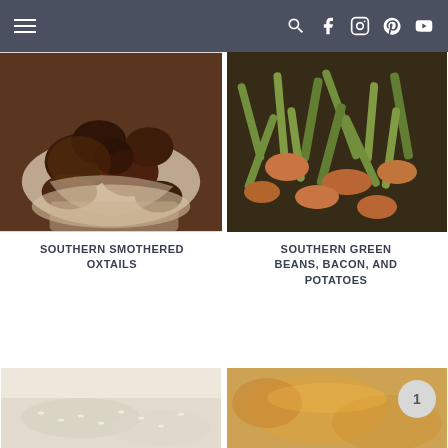Navigation bar with hamburger menu and social icons (search, facebook, instagram, pinterest, youtube)
[Figure (photo): Close-up of Southern smothered oxtails served over rice in a white bowl, dark braised meat with rich gravy]
[Figure (photo): Close-up of Southern green beans, bacon, and potatoes in a skillet, green beans with bacon pieces and red potatoes]
SOUTHERN SMOTHERED OXTAILS
SOUTHERN GREEN BEANS, BACON, AND POTATOES
[Figure (photo): Partial view of bottom-left food image, appears light colored with white rice or similar]
[Figure (photo): Partial view of bottom-right food image, appears to show orange/amber colored sauce or dish]